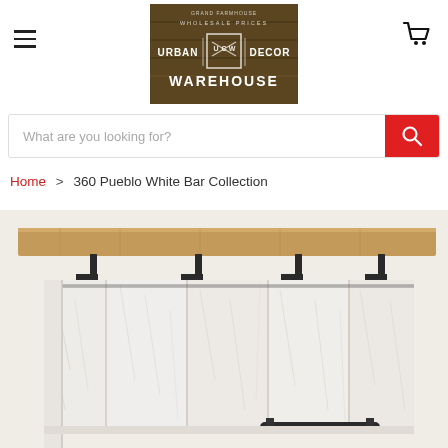[Figure (logo): Urban Decor Warehouse logo on dark wood background with text WHOLESALE PRICES]
[Figure (other): Hamburger menu icon (three horizontal lines)]
[Figure (other): Shopping cart icon]
What are you looking for?
Home > 360 Pueblo White Bar Collection
[Figure (photo): 360 Pueblo White Bar Collection product photo — rustic distressed white painted wood bar with natural wood top and black metal brackets and a foot rail]